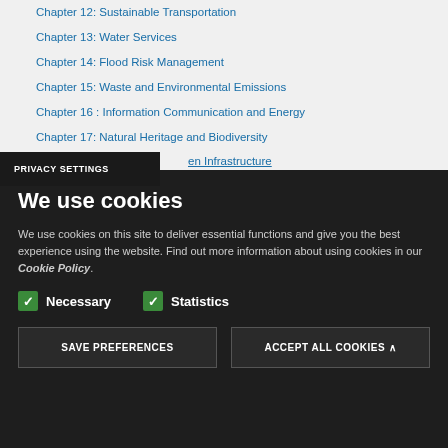Chapter 12: Sustainable Transportation
Chapter 13: Water Services
Chapter 14: Flood Risk Management
Chapter 15: Waste and Environmental Emissions
Chapter 16 : Information Communication and Energy
Chapter 17: Natural Heritage and Biodiversity
...en Infrastructure
...ine Spatial Planning and Coastal Zone
PRIVACY SETTINGS
We use cookies
We use cookies on this site to deliver essential functions and give you the best experience using the website. Find out more information about using cookies in our Cookie Policy.
Necessary   Statistics
SAVE PREFERENCES   ACCEPT ALL COOKIES